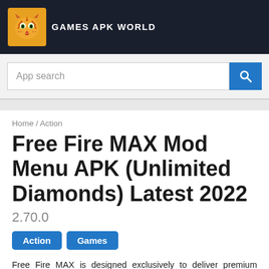GAMES APK WORLD
App search
Home / Action
Free Fire MAX Mod Menu APK (Unlimited Diamonds) Latest 2022
2.70.0
Action
Games
Free Fire MAX is designed exclusively to deliver premium gameplay experience in a Battle Royale. Enjoy a variety of exciting game modes with all Free Fire players via exclusive Firelink technology. Experience combat like never before with Ultra HD resolutions and breathtaking